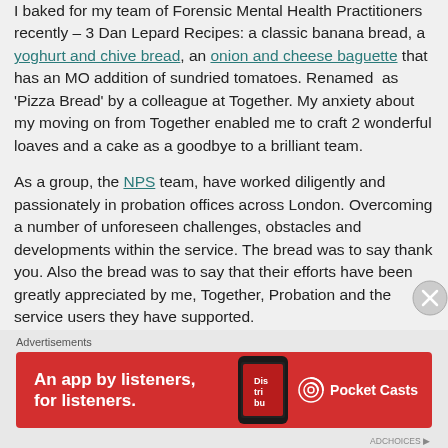I baked for my team of Forensic Mental Health Practitioners recently – 3 Dan Lepard Recipes: a classic banana bread, a yoghurt and chive bread, an onion and cheese baguette that has an MO addition of sundried tomatoes. Renamed as 'Pizza Bread' by a colleague at Together. My anxiety about my moving on from Together enabled me to craft 2 wonderful loaves and a cake as a goodbye to a brilliant team.
As a group, the NPS team, have worked diligently and passionately in probation offices across London. Overcoming a number of unforeseen challenges, obstacles and developments within the service. The bread was to say thank you. Also the bread was to say that their efforts have been greatly appreciated by me, Together, Probation and the service users they have supported.
[Figure (other): Advertisement banner for Pocket Casts app: red background with white text 'An app by listeners, for listeners.' with a phone showing 'Distributed' text and Pocket Casts logo]